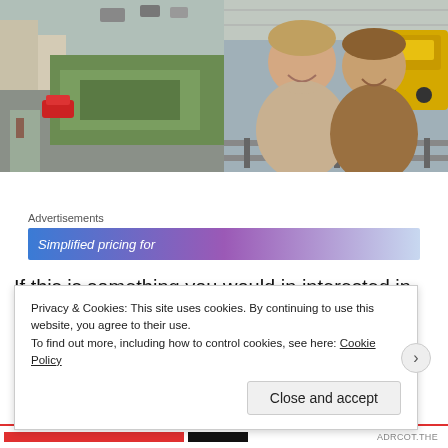[Figure (photo): Left: outdoor scene with overgrown vegetation, path, parked red car, and buildings. Right: two smiling men posing at a train station with a yellow/green locomotive in the background.]
Advertisements
[Figure (screenshot): Advertisement banner with gradient blue-purple background reading 'Simplified pricing for']
If this is something you would in interested in doing, the premier class trip that we did costs around £259 each, though a standard class seat without the food costs around £75. For
Privacy & Cookies: This site uses cookies. By continuing to use this website, you agree to their use.
To find out more, including how to control cookies, see here: Cookie Policy
Close and accept